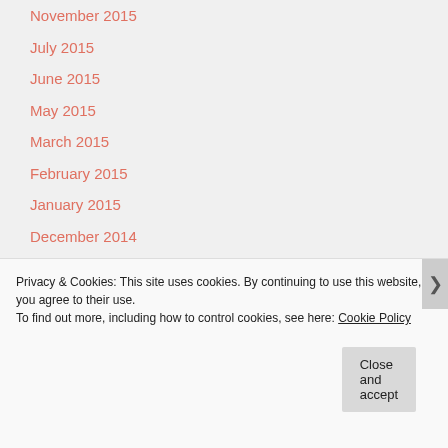November 2015
July 2015
June 2015
May 2015
March 2015
February 2015
January 2015
December 2014
November 2014
June 2014
May 2014
Privacy & Cookies: This site uses cookies. By continuing to use this website, you agree to their use.
To find out more, including how to control cookies, see here: Cookie Policy
Close and accept